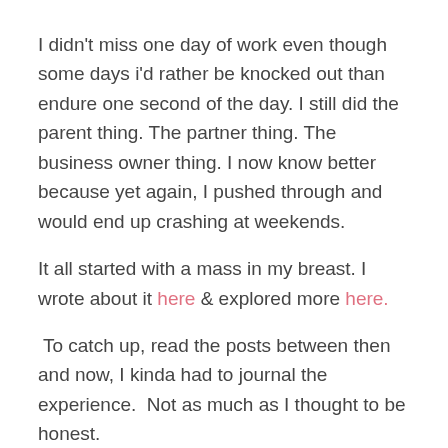I didn't miss one day of work even though some days i'd rather be knocked out than endure one second of the day. I still did the parent thing. The partner thing. The business owner thing. I now know better because yet again, I pushed through and would end up crashing at weekends.
It all started with a mass in my breast. I wrote about it here & explored more here.
To catch up, read the posts between then and now, I kinda had to journal the experience.  Not as much as I thought to be honest.
I had 6 weeks of Prednisolone... That shit is legit. It gave me such a new lease of life. I cannot stress the difference enough. Tapered down and the pains returned so the rheumatologist has seen that it...